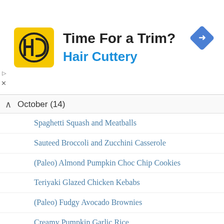[Figure (other): Hair Cuttery advertisement banner with logo, 'Time For a Trim?' headline, and blue navigation arrow icon]
October (14)
Spaghetti Squash and Meatballs
Sauteed Broccoli and Zucchini Casserole
(Paleo) Almond Pumpkin Choc Chip Cookies
Teriyaki Glazed Chicken Kebabs
(Paleo) Fudgy Avocado Brownies
Creamy Pumpkin Garlic Rice
Creamy Pumpkin Sauce
Always Buy The Best Quality Meat You Can Afford (A...
Almond Chia Recovery Smoothie
Crock-Pot Bolognese Sauce
1-Minute Paleo Choc Chip Cookie (In A Mug)